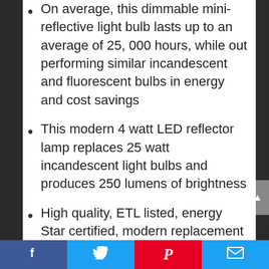On average, this dimmable mini-reflective light bulb lasts up to an average of 25, 000 hours, while out performing similar incandescent and fluorescent bulbs in energy and cost savings
This modern 4 watt LED reflector lamp replaces 25 watt incandescent light bulbs and produces 250 lumens of brightness
High quality, ETL listed, energy Star certified, modern replacement LED lamp sold at a consumer friendly price
Ideal for many applications and...
Facebook | Twitter | Pinterest | Email